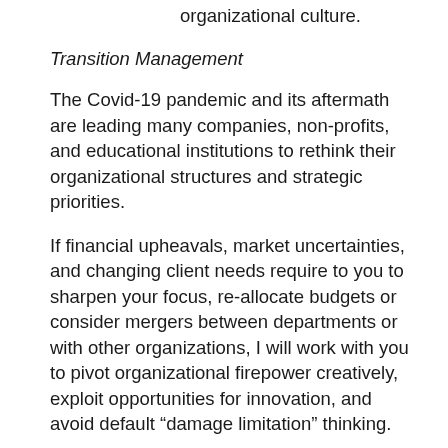organizational culture.
Transition Management
The Covid-19 pandemic and its aftermath are leading many companies, non-profits, and educational institutions to rethink their organizational structures and strategic priorities.
If financial upheavals, market uncertainties, and changing client needs require to you to sharpen your focus, re-allocate budgets or consider mergers between departments or with other organizations, I will work with you to pivot organizational firepower creatively, exploit opportunities for innovation, and avoid default "damage limitation" thinking.
To explore how I might help you take your organization to the next level, contact me: